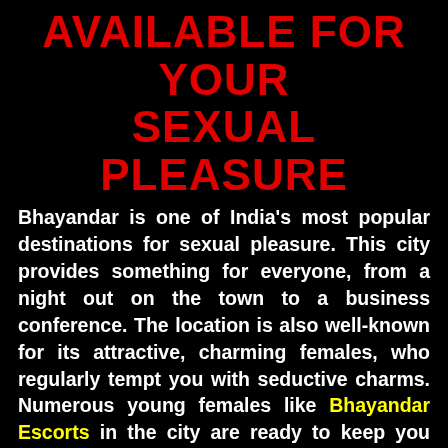AVAILABLE FOR YOUR SEXUAL PLEASURE
Bhayandar is one of India's most popular destinations for sexual pleasure. This city provides something for everyone, from a night out on the town to a business conference. The location is also well-known for its attractive, charming females, who regularly tempt you with seductive charms. Numerous young females like Bhayandar Escorts in the city are ready to keep you company and deliver some of the most memorable experiences of your life if you ask nicely. If you're looking for a little more oomph, Bhayandar Escort can provide with their knowledgeable and seductive Escorts. Among them is a group of enthusiastic, dynamic, open-minded